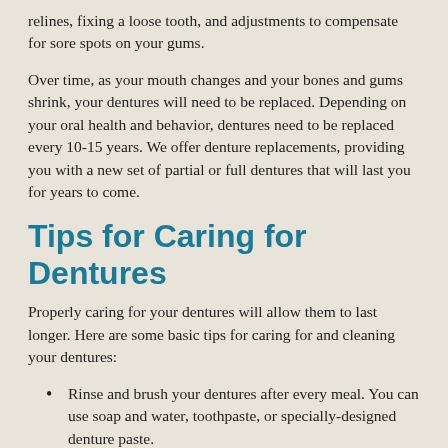relines, fixing a loose tooth, and adjustments to compensate for sore spots on your gums.
Over time, as your mouth changes and your bones and gums shrink, your dentures will need to be replaced. Depending on your oral health and behavior, dentures need to be replaced every 10-15 years. We offer denture replacements, providing you with a new set of partial or full dentures that will last you for years to come.
Tips for Caring for Dentures
Properly caring for your dentures will allow them to last longer. Here are some basic tips for caring for and cleaning your dentures:
Rinse and brush your dentures after every meal. You can use soap and water, toothpaste, or specially-designed denture paste.
Use cold water to rinse your dentures, as hot water could warp them.